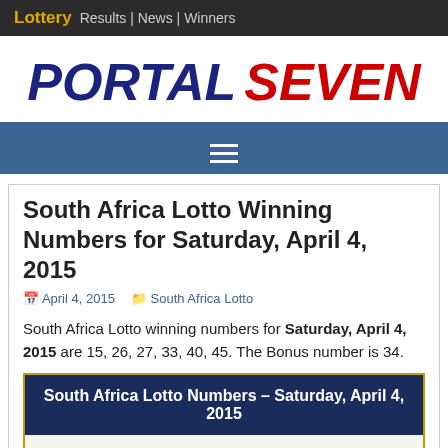Lottery Results | News | Winners
PORTAL SEVEN
South Africa Lotto Winning Numbers for Saturday, April 4, 2015
April 4, 2015   South Africa Lotto
South Africa Lotto winning numbers for Saturday, April 4, 2015 are 15, 26, 27, 33, 40, 45. The Bonus number is 34.
| South Africa Lotto Numbers – Saturday, April 4, 2015 |
| --- |
| 15 | 26 | 27 | 33 | 40 | 45 | 34 |